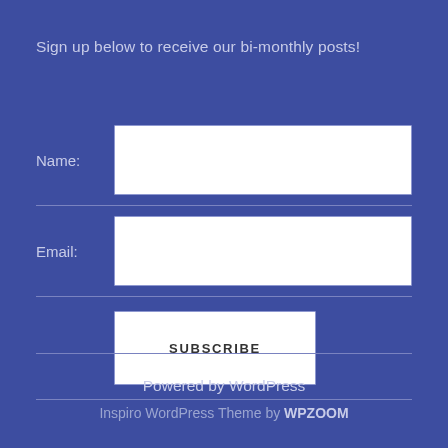Sign up below to receive our bi-monthly posts!
Name:
Email:
SUBSCRIBE
Powered by WordPress
Inspiro WordPress Theme by WPZOOM